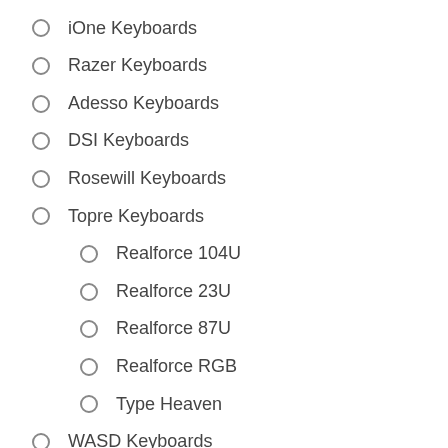KUL Keyboards
iOne Keyboards
Razer Keyboards
Adesso Keyboards
DSI Keyboards
Rosewill Keyboards
Topre Keyboards
Realforce 104U
Realforce 23U
Realforce 87U
Realforce RGB
Type Heaven
WASD Keyboards
Code
Code TKL